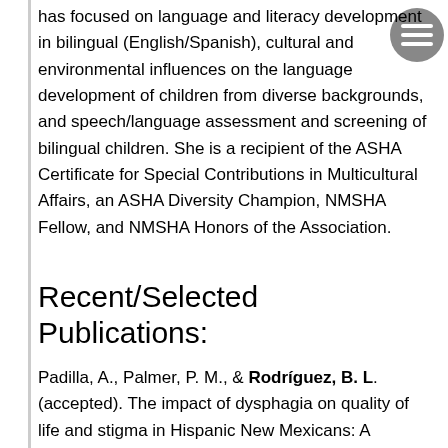has focused on language and literacy development in bilingual (English/Spanish), cultural and environmental influences on the language development of children from diverse backgrounds, and speech/language assessment and screening of bilingual children. She is a recipient of the ASHA Certificate for Special Contributions in Multicultural Affairs, an ASHA Diversity Champion, NMSHA Fellow, and NMSHA Honors of the Association.
Recent/Selected Publications:
Padilla, A., Palmer, P. M., & Rodríguez, B. L. (accepted). The impact of dysphagia on quality of life and stigma in Hispanic New Mexicans: A quantitative and qualitative analysis. American Journal of Speech-Language Pathology.
Scarpino, S., Hammer Scheffner, C., Lopez, L., Rodriguez, B. & Goldstein, B. (accepted). Effects of home language, oral language skills, and cross-linguistic phonological